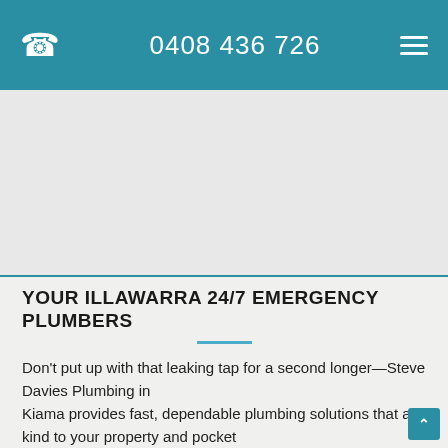0408 436 726
[Figure (photo): Hero image area — light grey placeholder image occupying the space between the header and the main content section]
YOUR ILLAWARRA 24/7 EMERGENCY PLUMBERS
Don't put up with that leaking tap for a second longer—Steve Davies Plumbing in Kiama provides fast, dependable plumbing solutions that are kind to your property and pocket